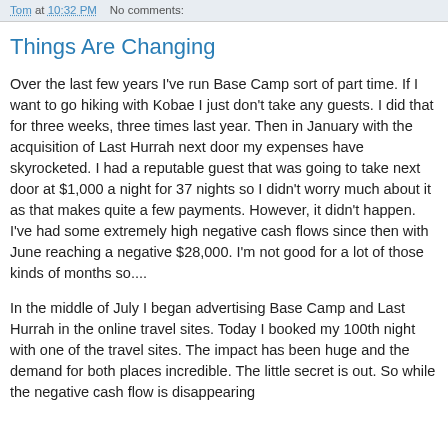Tom at 10:32 PM   No comments:
Things Are Changing
Over the last few years I've run Base Camp sort of part time. If I want to go hiking with Kobae I just don't take any guests. I did that for three weeks, three times last year. Then in January with the acquisition of Last Hurrah next door my expenses have skyrocketed. I had a reputable guest that was going to take next door at $1,000 a night for 37 nights so I didn't worry much about it as that makes quite a few payments. However, it didn't happen. I've had some extremely high negative cash flows since then with June reaching a negative $28,000. I'm not good for a lot of those kinds of months so....
In the middle of July I began advertising Base Camp and Last Hurrah in the online travel sites. Today I booked my 100th night with one of the travel sites. The impact has been huge and the demand for both places incredible. The little secret is out. So while the negative cash flow is disappearing